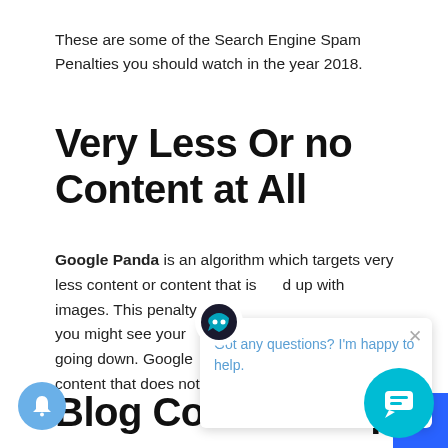These are some of the Search Engine Spam Penalties you should watch in the year 2018.
Very Less Or no Content at All
Google Panda is an algorithm which targets very less content or content that is padded up with images. This penalty is very serious because you might see your organic search traffic going down. Google penalizes pages with content that does not provide value to readers.
Blog Comment Spam